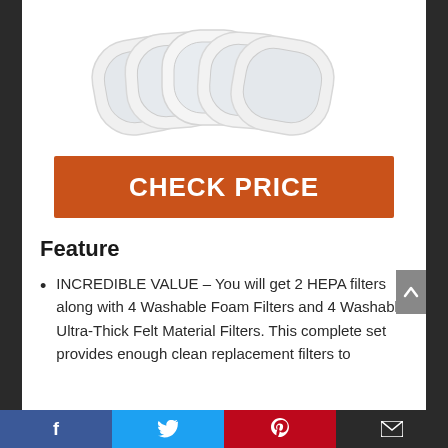[Figure (photo): Multiple white HEPA filter pads arranged in a fan/overlapping pattern on white background]
CHECK PRICE
Feature
INCREDIBLE VALUE – You will get 2 HEPA filters along with 4 Washable Foam Filters and 4 Washable Ultra-Thick Felt Material Filters. This complete set provides enough clean replacement filters to